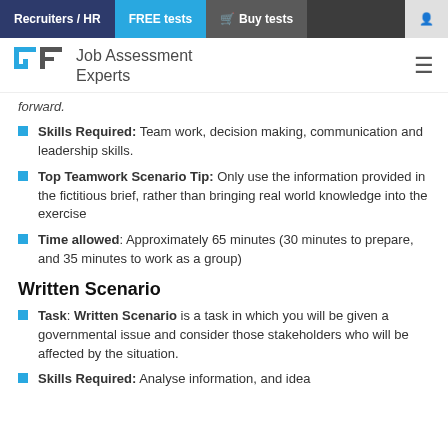Recruiters / HR | FREE tests | Buy tests | user icon
[Figure (logo): Job Assessment Experts logo with GF icon and text]
forward.
Skills Required: Team work, decision making, communication and leadership skills.
Top Teamwork Scenario Tip: Only use the information provided in the fictitious brief, rather than bringing real world knowledge into the exercise
Time allowed: Approximately 65 minutes (30 minutes to prepare, and 35 minutes to work as a group)
Written Scenario
Task: Written Scenario is a task in which you will be given a governmental issue and consider those stakeholders who will be affected by the situation.
Skills Required: Analyse information, and idea